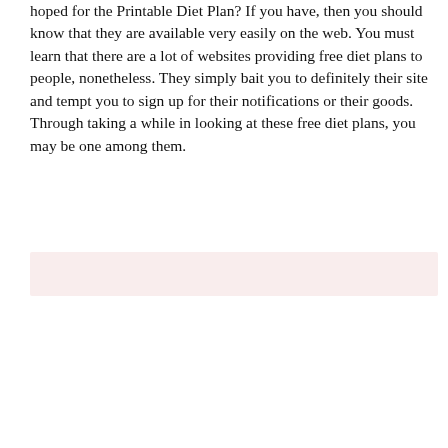hoped for the Printable Diet Plan? If you have, then you should know that they are available very easily on the web. You must learn that there are a lot of websites providing free diet plans to people, nonetheless. They simply bait you to definitely their site and tempt you to sign up for their notifications or their goods. Through taking a while in looking at these free diet plans, you may be one among them.
[Figure (other): A light pink/rose colored empty rectangular box]